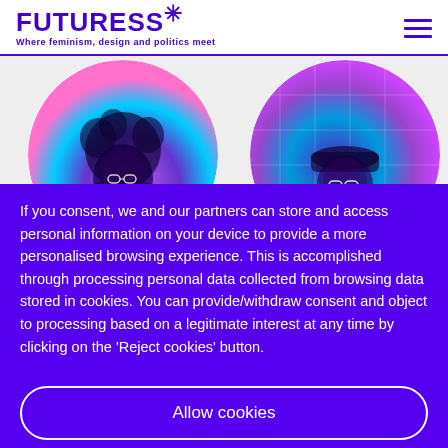FUTURESS* — Where feminism, design and politics meet
[Figure (photo): Two circular cropped portrait photos with colorful purple/teal/pink duotone overlays. Left circle: person with curly hair and glasses. Right circle: person with glasses and a cap, with grid-like overlay.]
If you consent, we and our partners can store and access personal information on your device to provide a more personalised browsing experience. This is accomplished through processing personal data collected from browsing data stored in cookies. You can provide/withdraw consent and object to processing based on a legitimate interest at any time by clicking on the 'Reject cookies' button.
Allow cookies
Reject cookies